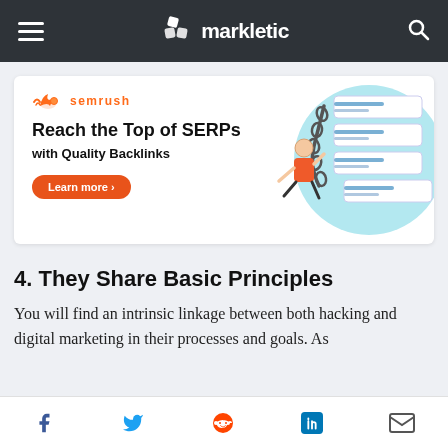markletic
[Figure (illustration): SEMrush advertisement banner: logo with orange rocket/flame icon and 'semrush' text, headline 'Reach the Top of SERPs', subheadline 'with Quality Backlinks', orange 'Learn more >' button, illustration of person climbing a chain next to stacked search result cards on blue background]
4. They Share Basic Principles
You will find an intrinsic linkage between both hacking and digital marketing in their processes and goals. As
Social share icons: Facebook, Twitter, Reddit, LinkedIn, Email